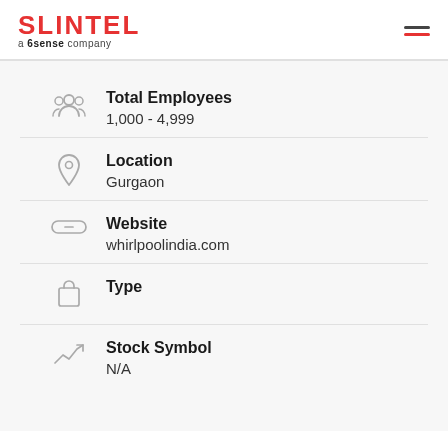SLINTEL a 6sense company
Total Employees: 1,000 - 4,999
Location: Gurgaon
Website: whirlpoolindia.com
Type:
Stock Symbol: N/A